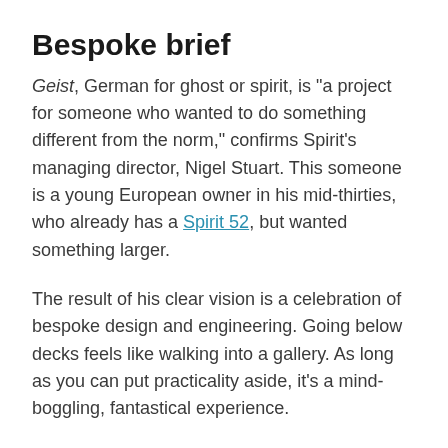Bespoke brief
Geist, German for ghost or spirit, is "a project for someone who wanted to do something different from the norm," confirms Spirit's managing director, Nigel Stuart. This someone is a young European owner in his mid-thirties, who already has a Spirit 52, but wanted something larger.
The result of his clear vision is a celebration of bespoke design and engineering. Going below decks feels like walking into a gallery. As long as you can put practicality aside, it's a mind-boggling, fantastical experience.
The initial design started at 90ft, but in a clue to the importance of aesthetics, got stretched an additional 20ft to ensure the most appealing lines. A skipper will help maintain the yacht, but while on board the owner wants to sail it himself. There isn't even accommodation for crew.